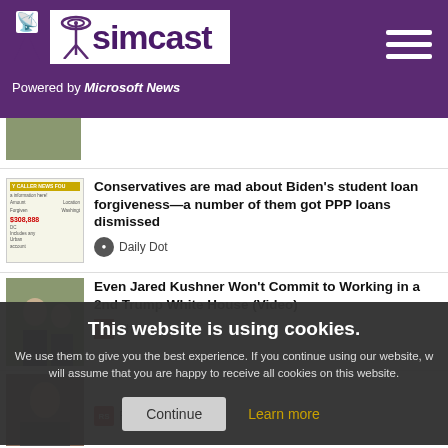simcast — Powered by Microsoft News
[Figure (screenshot): Partial news thumbnail at top (cropped)]
[Figure (screenshot): PPP loan document thumbnail for Daily Dot article]
Conservatives are mad about Biden's student loan forgiveness—a number of them got PPP loans dismissed
Daily Dot
[Figure (photo): Photo of Jared Kushner and Ivanka Trump]
Even Jared Kushner Won't Commit to Working in a 2nd Trump White House (Video)
TheWrap
This website is using cookies.
We use them to give you the best experience. If you continue using our website, we will assume that you are happy to receive all cookies on this website.
Continue
Learn more
[Figure (photo): Photo of a man (partial, Raw Story article)]
Raw Story